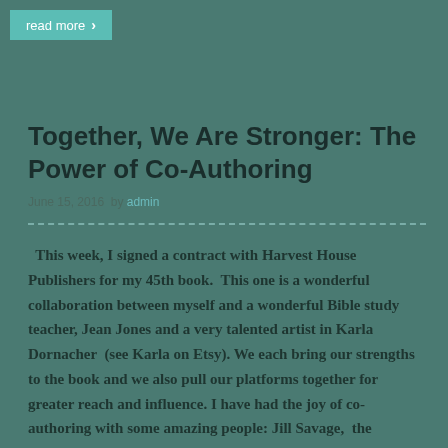read more >
Together, We Are Stronger: The Power of Co-Authoring
June 15, 2016  by admin
This week, I signed a contract with Harvest House Publishers for my 45th book.  This one is a wonderful collaboration between myself and a wonderful Bible study teacher, Jean Jones and a very talented artist in Karla Dornacher  (see Karla on Etsy). We each bring our strengths to the book and we also pull our platforms together for greater reach and influence. I have had the joy of co-authoring with some amazing people: Jill Savage,  the founder and President of Hearts at Home  for Got Teens?  (Harvest House) Doreen Hanna, the founder and President of Modern Day Princess ministry...